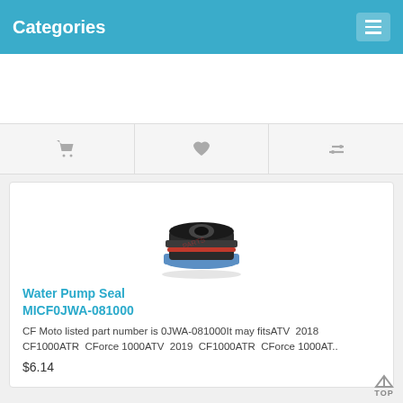Categories
[Figure (screenshot): Advertisement / empty banner area]
[Figure (infographic): Icon bar with cart, heart, and filter icons]
[Figure (photo): Photo of a Water Pump Seal mechanical part with black body, red markings, blue ring at bottom]
Water Pump Seal MICF0JWA-081000
CF Moto listed part number is 0JWA-081000It may fitsATV 2018 CF1000ATR CForce 1000ATV 2019 CF1000ATR CForce 1000AT..
$6.14